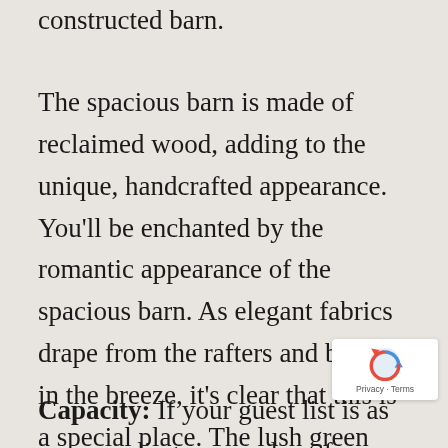constructed barn.
The spacious barn is made of reclaimed wood, adding to the unique, handcrafted appearance. You'll be enchanted by the romantic appearance of the spacious barn. As elegant fabrics drape from the rafters and billow in the breeze, it's clear that this is a special place. The lush green beauty of the venue makes this a locale that you and your guests won't soon forget.
Capacity: If your guest list is as never ending as your love for each